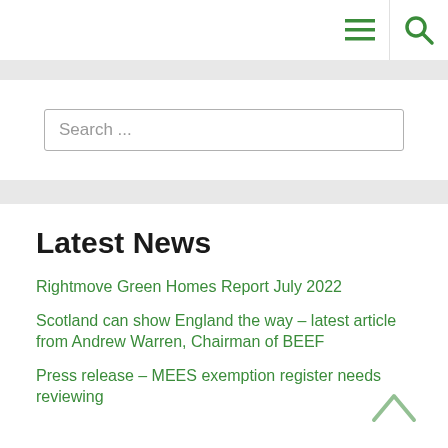Search ...
Latest News
Rightmove Green Homes Report July 2022
Scotland can show England the way – latest article from Andrew Warren, Chairman of BEEF
Press release – MEES exemption register needs reviewing